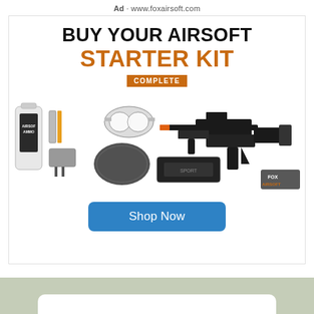Ad · www.foxairsoft.com
[Figure (advertisement): Fox Airsoft ad showing 'BUY YOUR AIRSOFT STARTER KIT COMPLETE' with product photo of airsoft gun, goggles, mask, ammo bottle, charger, carry bag, and accessories. Shop Now button.]